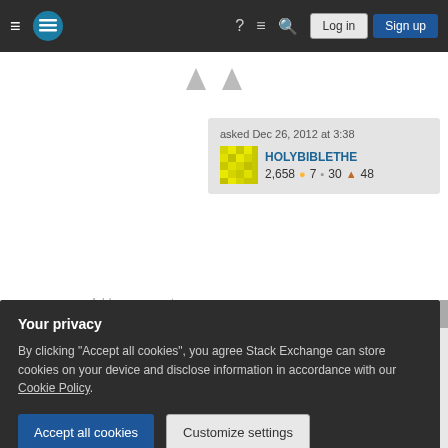Navigation bar with hamburger menu, Stack Exchange logo, help, chat, search icons, Log in and Sign up buttons
asked Dec 26, 2012 at 3:38
HOLYBIBLETHE 2,658 ●7 ▪30 ▲48
Add a comment
2 Answers
Sorted by: Highest score (default)
First, make the change of variables x = arctan(t) to
Your privacy
By clicking "Accept all cookies", you agree Stack Exchange can store cookies on your device and disclose information in accordance with our Cookie Policy.
Accept all cookies  Customize settings